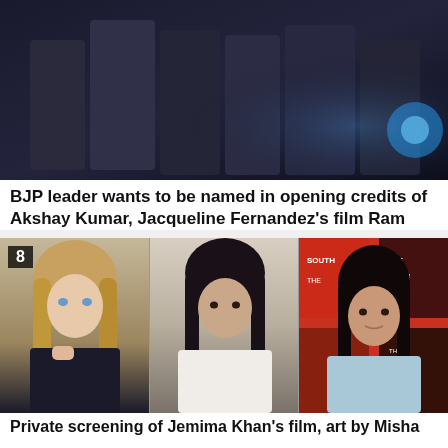[Figure (photo): Dark action scene photo from Bollywood film Ram Setu showing multiple people in dramatic pose]
BJP leader wants to be named in opening credits of Akshay Kumar, Jacqueline Fernandez's film Ram Setu
[Figure (photo): Composite photo of three women: Jemima Khan (blonde woman in black), Misha Japanwala (woman in white top), and a third woman in light blue top, with number badge '8']
Private screening of Jemima Khan's film, art by Misha Japanwala being presented for Sindh, Suha Araf effort